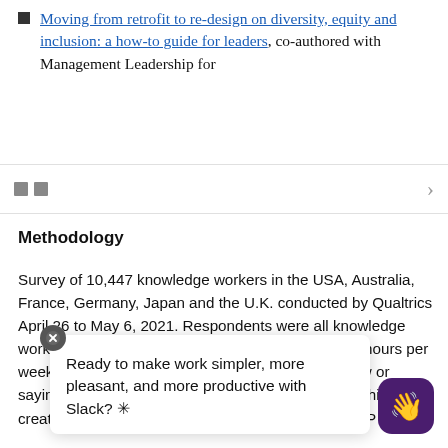Moving from retrofit to re-design on diversity, equity and inclusion: a how-to guide for leaders, co-authored with Management Leadership for
Methodology
Survey of 10,447 knowledge workers in the USA, Australia, France, Germany, Japan and the U.K. conducted by Qualtrics April 26 to May 6, 2021. Respondents were all knowledge workers, defined as employed full-time (30 or more hours per week) and either having one of the roles listed below or saying they “work with data, analyze information or think creatively”: Executive Management (e.g., President/Partner, CEO, CFO, Faculty), Senior Management (e.g., C-Suite, Director, VP), Middle Management (e.g., Team Manager, VP), Junior Management (e.g., Manager, Team lead), Senior Contributor/Individual contributor
Ready to make work simpler, more pleasant, and more productive with Slack? ✳